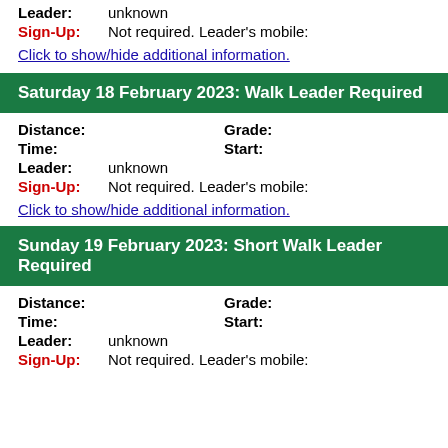Leader: unknown
Sign-Up: Not required. Leader's mobile:
Click to show/hide additional information.
Saturday 18 February 2023: Walk Leader Required
Distance:    Grade:
Time:    Start:
Leader: unknown
Sign-Up: Not required. Leader's mobile:
Click to show/hide additional information.
Sunday 19 February 2023: Short Walk Leader Required
Distance:    Grade:
Time:    Start:
Leader: unknown
Sign-Up: Not required. Leader's mobile: